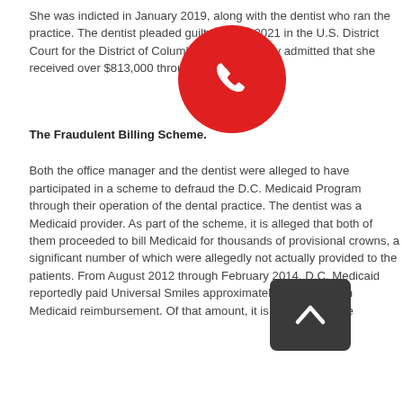She was indicted in January 2019, along with the dentist who ran the practice. The dentist pleaded guilty in May 2021 in the U.S. District Court for the District of Columbia and reportedly admitted that she received over $813,000 through false billings.
The Fraudulent Billing Scheme.
Both the office manager and the dentist were alleged to have participated in a scheme to defraud the D.C. Medicaid Program through their operation of the dental practice. The dentist was a Medicaid provider. As part of the scheme, it is alleged that both of them proceeded to bill Medicaid for thousands of provisional crowns, a significant number of which were allegedly not actually provided to the patients. From August 2012 through February 2014, D.C. Medicaid reportedly paid Universal Smiles approximately $5.4 million in Medicaid reimbursement. Of that amount, it is alleged that the